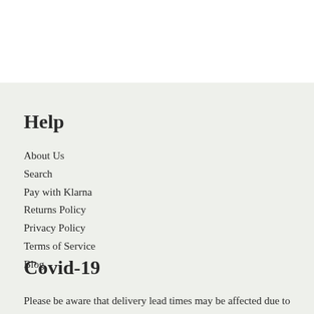Help
About Us
Search
Pay with Klarna
Returns Policy
Privacy Policy
Terms of Service
Blog
Covid-19
Please be aware that delivery lead times may be affected due to